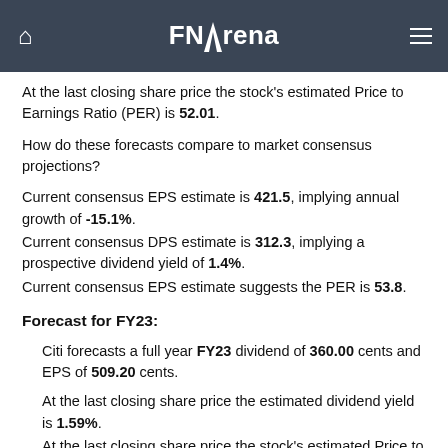FNArena
At the last closing share price the stock's estimated Price to Earnings Ratio (PER) is 52.01.
How do these forecasts compare to market consensus projections?
Current consensus EPS estimate is 421.5, implying annual growth of -15.1%.
Current consensus DPS estimate is 312.3, implying a prospective dividend yield of 1.4%.
Current consensus EPS estimate suggests the PER is 53.8.
Forecast for FY23:
Citi forecasts a full year FY23 dividend of 360.00 cents and EPS of 509.20 cents.
At the last closing share price the estimated dividend yield is 1.59%.
At the last closing share price the stock's estimated Price to Earnings Ratio (PER) is 44.33.
How do these forecasts compare to market consensus projections?
Current consensus EPS estimate is 494.2, implying annual growth